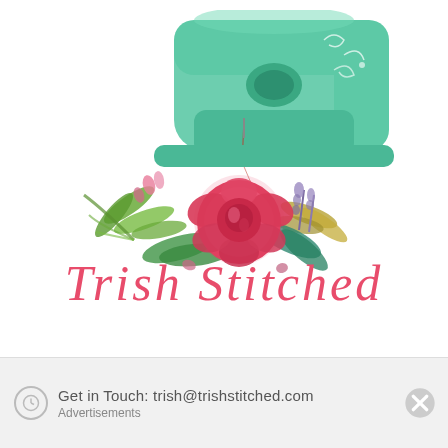[Figure (logo): Trish Stitched brand logo with a mint green vintage sewing machine and colorful watercolor floral arrangement (pink rose, green leaves, lavender sprigs, golden leaves), with the cursive brand name 'Trish Stitched' in pink below.]
Get in Touch: trish@trishstitched.com
Advertisements